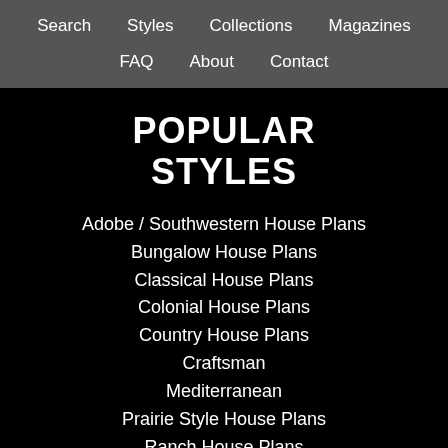Search  Styles  Collections  Magazines  FAQ  About  Contact
POPULAR STYLES
Adobe / Southwestern House Plans
Bungalow House Plans
Classical House Plans
Colonial House Plans
Country House Plans
Craftsman
Mediterranean
Prairie Style House Plans
Ranch House Plans
Traditional House Plans
Victorian House Plans